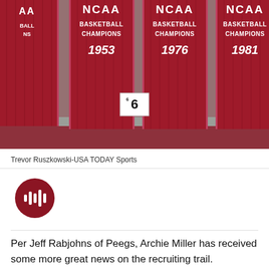[Figure (photo): NCAA Basketball Championship banners for 1953, 1976, and 1981 hanging from the rafters in a gymnasium, with a Channel 6 logo visible in the foreground.]
Trevor Ruszkowski-USA TODAY Sports
[Figure (other): Audio player button — dark red circular play button with soundbars icon]
Per Jeff Rabjohns of Peegs, Archie Miller has received some more great news on the recruiting trail.